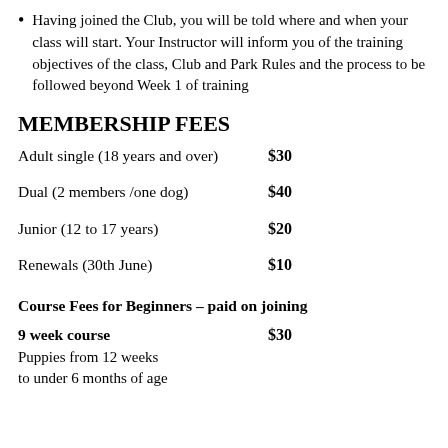Having joined the Club, you will be told where and when your class will start. Your Instructor will inform you of the training objectives of the class, Club and Park Rules and the process to be followed beyond Week 1 of training
MEMBERSHIP FEES
Adult single (18 years and over)    $30
Dual (2 members /one dog)    $40
Junior (12 to 17 years)    $20
Renewals (30th June)    $10
Course Fees for Beginners – paid on joining
9 week course    $30
Puppies from 12 weeks
to under 6 months of age